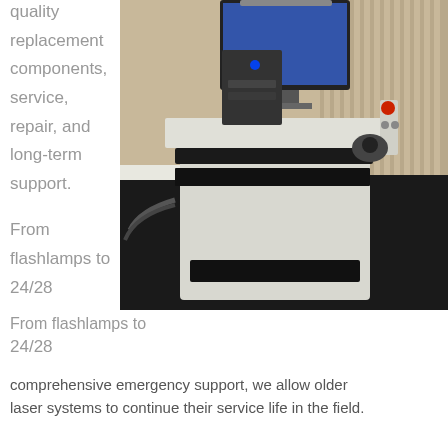quality replacement components, service, repair, and long-term support.
[Figure (photo): Photo of a white industrial laser control workstation cart with a monitor on top, a computer tower, keyboard, trackball mouse, and control panel. The workstation is on a dark floor with a corrugated wall background.]
From flashlamps to 24/28
comprehensive emergency support, we allow older laser systems to continue their service life in the field.